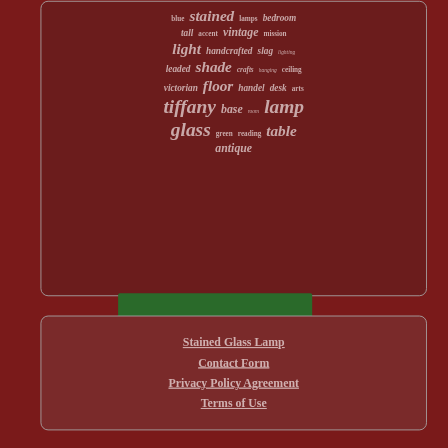[Figure (infographic): Word cloud on dark red/maroon background with words related to stained glass lamps: blue, stained, lamps, bedroom, tall, accent, vintage, mission, light, handcrafted, slag, lighting, leaded, shade, crafts, hanging, ceiling, victorian, floor, handel, desk, arts, tiffany, base, room, lamp, glass, green, reading, table, antique]
Stained Glass Lamp
Contact Form
Privacy Policy Agreement
Terms of Use